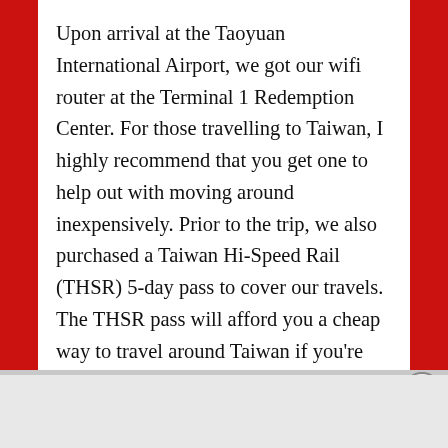Upon arrival at the Taoyuan International Airport, we got our wifi router at the Terminal 1 Redemption Center. For those travelling to Taiwan, I highly recommend that you get one to help out with moving around inexpensively. Prior to the trip, we also purchased a Taiwan Hi-Speed Rail (THSR) 5-day pass to cover our travels. The THSR pass will afford you a cheap way to travel around Taiwan if you're not booked on a group tour. In our case, we wanted to select choice interest spots, hence the decision not to take part in a group tour. That done, we boarded our
Advertisements
[Figure (other): DuckDuckGo advertisement banner: 'Search, browse, and email with more privacy. All in One Free App' with DuckDuckGo logo on dark background]